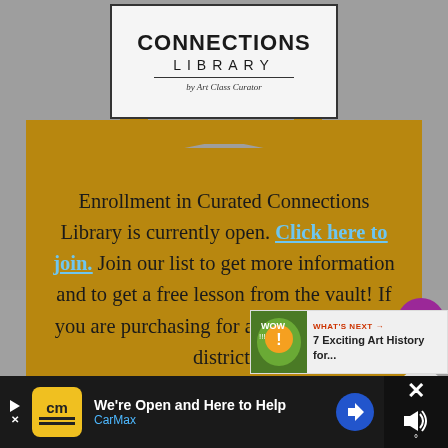[Figure (illustration): Curated Connections Library logo on a white sign card mounted on a gold tote bag, shown against a gray background. The sign reads CONNECTIONS LIBRARY by Art Class Curator.]
Enrollment in Curated Connections Library is currently open. Click here to join. Join our list to get more information and to get a free lesson from the vault! If you are purchasing for a school or school district, head over here for more inform...
WHAT'S NEXT → 7 Exciting Art History for...
We're Open and Here to Help CarMax